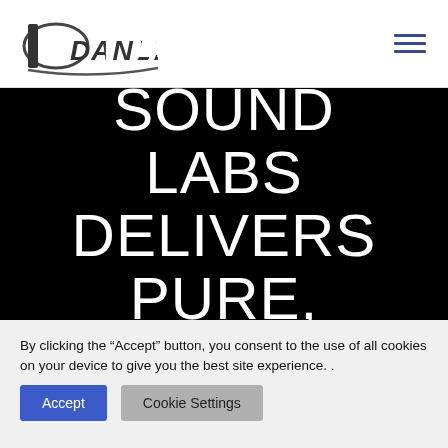[Figure (logo): Danley Sound Labs logo — stylized 'D' with italic DANLEY text]
DANLEY SOUND LABS DELIVERS PURE, SMOOTH
By clicking the “Accept” button, you consent to the use of all cookies on your device to give you the best site experience. .